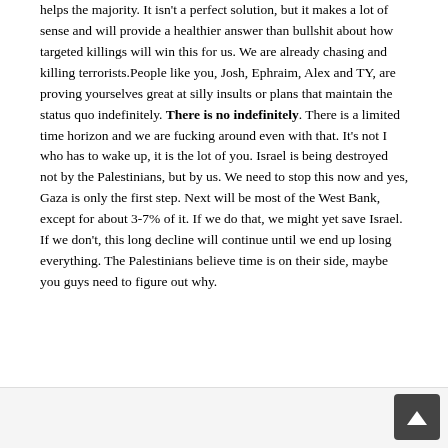helps the majority. It isn't a perfect solution, but it makes a lot of sense and will provide a healthier answer than bullshit about how targeted killings will win this for us. We are already chasing and killing terrorists.People like you, Josh, Ephraim, Alex and TY, are proving yourselves great at silly insults or plans that maintain the status quo indefinitely. There is no indefinitely. There is a limited time horizon and we are fucking around even with that. It's not I who has to wake up, it is the lot of you. Israel is being destroyed not by the Palestinians, but by us. We need to stop this now and yes, Gaza is only the first step. Next will be most of the West Bank, except for about 3-7% of it. If we do that, we might yet save Israel. If we don't, this long decline will continue until we end up losing everything. The Palestinians believe time is on their side, maybe you guys need to figure out why.